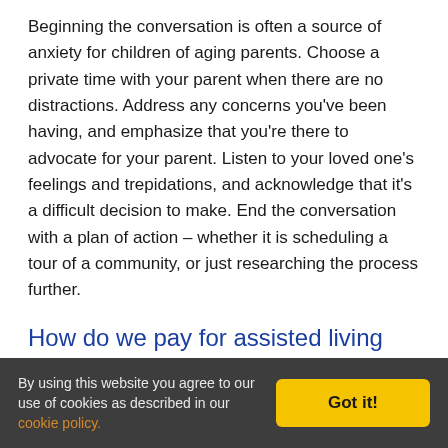Beginning the conversation is often a source of anxiety for children of aging parents. Choose a private time with your parent when there are no distractions. Address any concerns you've been having, and emphasize that you're there to advocate for your parent. Listen to your loved one's feelings and trepidations, and acknowledge that it's a difficult decision to make. End the conversation with a plan of action – whether it is scheduling a tour of a community, or just researching the process further.
How do we pay for assisted living and
By using this website you agree to our use of cookies as described in our cookie policy.